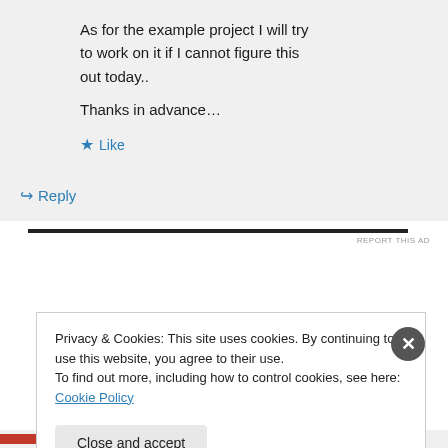As for the example project I will try to work on it if I cannot figure this out today..
Thanks in advance…
★ Like
↪ Reply
REPORT THIS AD
Privacy & Cookies: This site uses cookies. By continuing to use this website, you agree to their use.
To find out more, including how to control cookies, see here: Cookie Policy
Close and accept